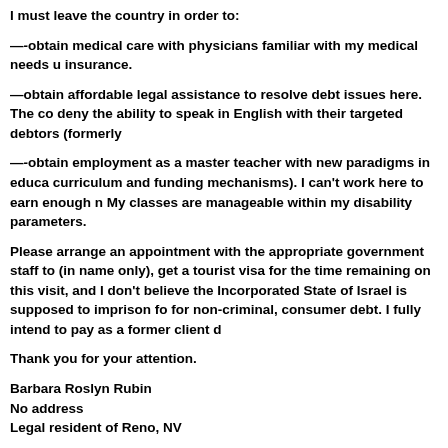I must leave the country in order to:
—-obtain medical care with physicians familiar with my medical needs u insurance.
—obtain affordable legal assistance to resolve debt issues here. The co deny the ability to speak in English with their targeted debtors (formerly
—-obtain employment as a master teacher with new paradigms in educa curriculum and funding mechanisms). I can't work here to earn enough n My classes are manageable within my disability parameters.
Please arrange an appointment with the appropriate government staff to (in name only), get a tourist visa for the time remaining on this visit, and I don't believe the Incorporated State of Israel is supposed to imprison fo for non-criminal, consumer debt. I fully intend to pay as a former client d
Thank you for your attention.
Barbara Roslyn Rubin
No address
Legal resident of Reno, NV